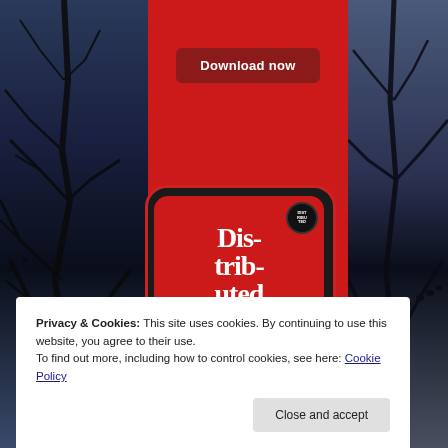[Figure (screenshot): Website screenshot showing a red banner with 'Download now' button and a smartphone displaying the 'Distributed' podcast app, with dark tree silhouette backgrounds on both sides]
Privacy & Cookies: This site uses cookies. By continuing to use this website, you agree to their use.
To find out more, including how to control cookies, see here: Cookie Policy
Close and accept